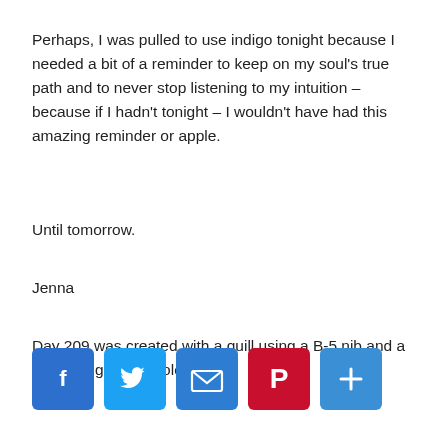Perhaps, I was pulled to use indigo tonight because I needed a bit of a reminder to keep on my soul's true path and to never stop listening to my intuition – because if I hadn't tonight – I wouldn't have had this amazing reminder or apple.
Until tomorrow.
Jenna
Day 209 was created with a quill using a B-5 nib and a deep indigo watercolor.
[Figure (other): Row of social media share buttons: Facebook (blue), Twitter (light blue), Email (blue), Pinterest (red), Add/More (blue)]